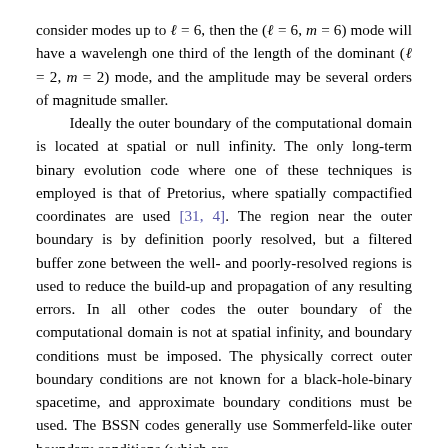consider modes up to ℓ = 6, then the (ℓ = 6, m = 6) mode will have a wavelengh one third of the length of the dominant (ℓ = 2, m = 2) mode, and the amplitude may be several orders of magnitude smaller.
Ideally the outer boundary of the computational domain is located at spatial or null infinity. The only long-term binary evolution code where one of these techniques is employed is that of Pretorius, where spatially compactified coordinates are used [31, 4]. The region near the outer boundary is by definition poorly resolved, but a filtered buffer zone between the well- and poorly-resolved regions is used to reduce the build-up and propagation of any resulting errors. In all other codes the outer boundary of the computational domain is not at spatial infinity, and boundary conditions must be imposed. The physically correct outer boundary conditions are not known for a black-hole-binary spacetime, and approximate boundary conditions must be used. The BSSN codes generally use Sommerfeld-like outer boundary conditions (which are